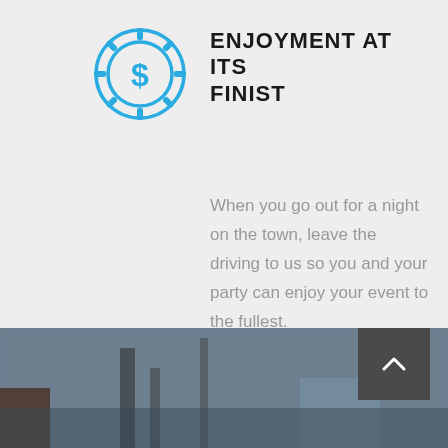[Figure (illustration): Blue casino chip icon with a dollar sign in the center, outlined in teal/blue color]
ENJOYMENT AT ITS FINIST
When you go out for a night on the town, leave the driving to us so you and your party can enjoy your event to the fullest.
[Figure (photo): Blurred background photo showing an indoor scene, appears to be a venue or event space]